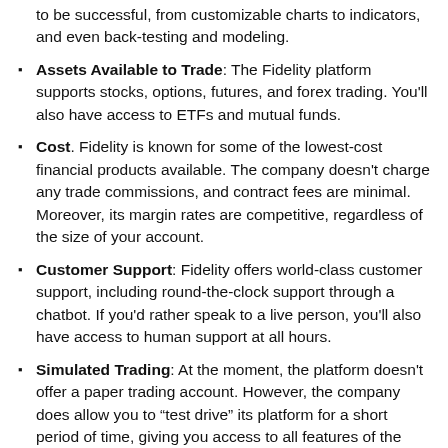to be successful, from customizable charts to indicators, and even back-testing and modeling.
Assets Available to Trade: The Fidelity platform supports stocks, options, futures, and forex trading. You'll also have access to ETFs and mutual funds.
Cost. Fidelity is known for some of the lowest-cost financial products available. The company doesn't charge any trade commissions, and contract fees are minimal. Moreover, its margin rates are competitive, regardless of the size of your account.
Customer Support: Fidelity offers world-class customer support, including round-the-clock support through a chatbot. If you'd rather speak to a live person, you'll also have access to human support at all hours.
Simulated Trading: At the moment, the platform doesn't offer a paper trading account. However, the company does allow you to “test drive” its platform for a short period of time, giving you access to all features of the Active Trader Pro platform for a limited time for free.
Margin Trading: Not only does the platform offer margin trading, it also...